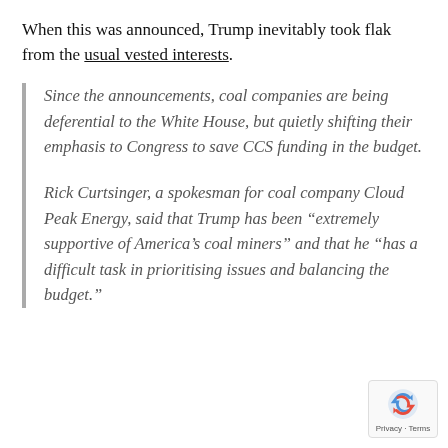When this was announced, Trump inevitably took flak from the usual vested interests.
Since the announcements, coal companies are being deferential to the White House, but quietly shifting their emphasis to Congress to save CCS funding in the budget.
Rick Curtsinger, a spokesman for coal company Cloud Peak Energy, said that Trump has been “extremely supportive of America’s coal miners” and that he “has a difficult task in prioritising issues and balancing the budget.”